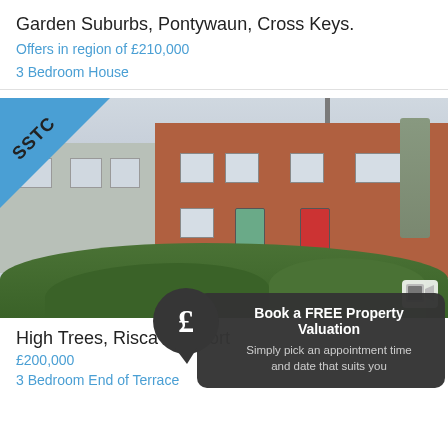Garden Suburbs, Pontywaun, Cross Keys.
Offers in region of £210,000
3 Bedroom House
[Figure (photo): Exterior photo of residential houses: left side shows a grey rendered semi-detached house, right side shows red brick terraced houses with white gable features. A blue SSTC triangle banner is overlaid in the top-left corner. A video camera icon appears bottom-right.]
High Trees, Risca Newport
£200,000
3 Bedroom End of Terrace
[Figure (infographic): Dark grey rounded popup with pound sign speech bubble icon. Text reads: Book a FREE Property Valuation. Simply pick an appointment time and date that suits you.]